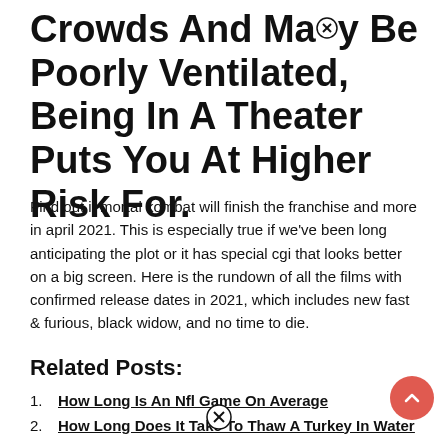Crowds And May Be Poorly Ventilated, Being In A Theater Puts You At Higher Risk For.
Find out if mortal kombat will finish the franchise and more in april 2021. This is especially true if we've been long anticipating the plot or it has special cgi that looks better on a big screen. Here is the rundown of all the films with confirmed release dates in 2021, which includes new fast & furious, black widow, and no time to die.
Related Posts:
How Long Is An Nfl Game On Average
How Long Does It Take To Thaw A Turkey In Water